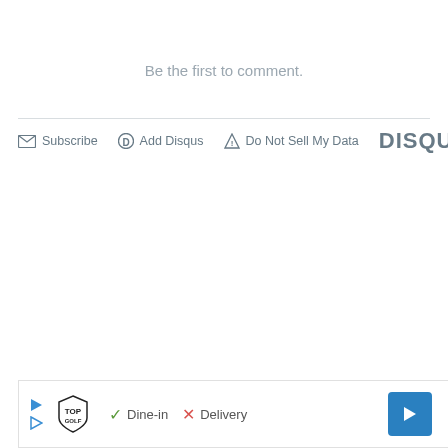Be the first to comment.
[Figure (other): Disqus comment section footer bar with Subscribe, Add Disqus, Do Not Sell My Data links and DISQUS logo]
[Figure (other): Advertisement banner for Topgolf showing Dine-in with checkmark and Delivery with X mark, with navigation arrow icon]